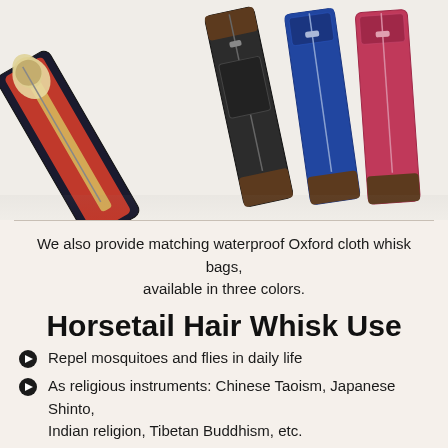[Figure (photo): Photo showing whisk bags laid out on a white surface — one open bag displaying a horsetail hair whisk inside, plus three closed bags in black, blue, and pink/rose colors, each with brown leather trim and zippers.]
We also provide matching waterproof Oxford cloth whisk bags, available in three colors.
Horsetail Hair Whisk Use
Repel mosquitoes and flies in daily life
As religious instruments: Chinese Taoism, Japanese Shinto, Indian religion, Tibetan Buddhism, etc.